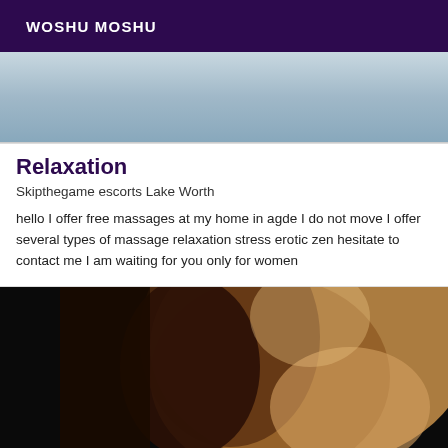WOSHU MOSHU
[Figure (photo): Partial view of a person wearing a light blue/grey top, cropped showing torso area]
Relaxation
Skipthegame escorts Lake Worth
hello I offer free massages at my home in agde I do not move I offer several types of massage relaxation stress erotic zen hesitate to contact me I am waiting for you only for women
[Figure (photo): Portrait of a woman with long dark wavy hair, wearing a light-colored spaghetti strap top, smiling, photographed from behind/side angle]